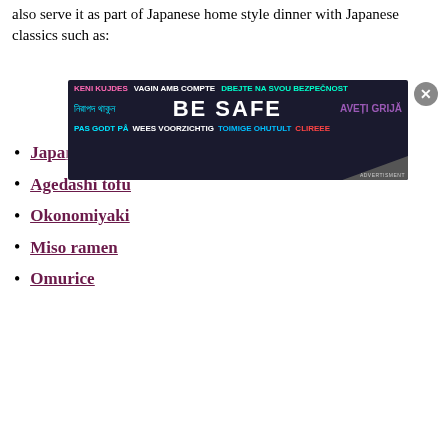also serve it as part of Japanese home style dinner with Japanese classics such as:
[Figure (screenshot): Advertisement banner overlaying the page content. Shows multilingual 'BE SAFE' public safety advertisement with text in multiple languages including English, Bengali, Czech, Dutch, Estonian, Romanian, and others on a dark background.]
Japanese karaage
Agedashi tofu
Okonomiyaki
Miso ramen
Omurice